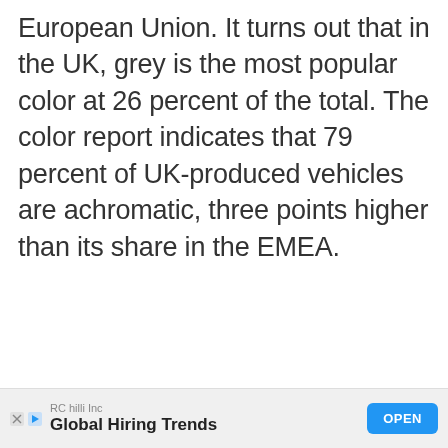European Union. It turns out that in the UK, grey is the most popular color at 26 percent of the total. The color report indicates that 79 percent of UK-produced vehicles are achromatic, three points higher than its share in the EMEA.
[Figure (photo): A dark grey/green Jaguar sports car driving on a road with a bridge in the background under a bright sky. There is a red circular arrow button overlapping the right edge of the image.]
RC hilli Inc  Global Hiring Trends  OPEN